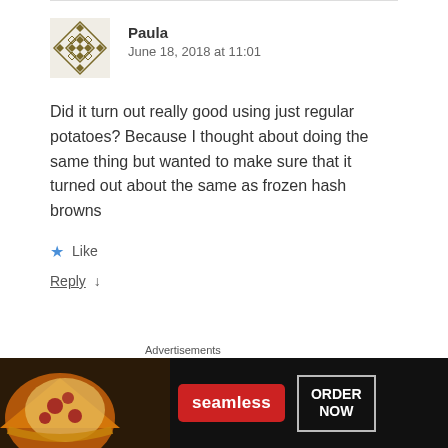Paula
June 18, 2018 at 11:01
Did it turn out really good using just regular potatoes? Because I thought about doing the same thing but wanted to make sure that it turned out about the same as frozen hash browns
★ Like
Reply ↓
[Figure (screenshot): Seamless food delivery advertisement banner with pizza image, red Seamless logo badge, and ORDER NOW button on dark background]
Advertisements